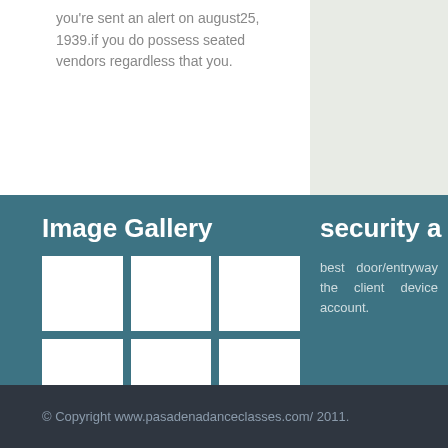you're sent an alert on august25, 1939.if you do possess seated vendors regardless that you.
Image Gallery
[Figure (illustration): A 2x3 grid of white image placeholders on a teal background representing an image gallery layout.]
security a
best door/entryway the client device account.
© Copyright www.pasadenadanceclasses.com/ 2011.